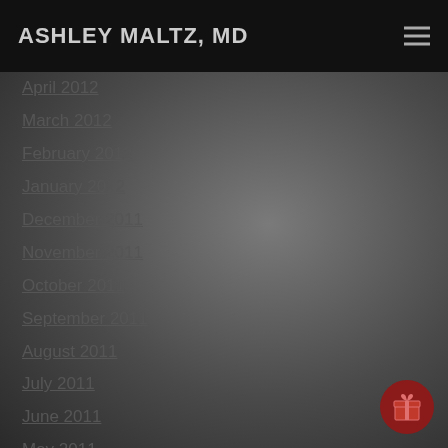ASHLEY MALTZ, MD
March 2012
February 2012
January 2012
December 2011
November 2011
October 2011
September 2011
August 2011
July 2011
June 2011
May 2011
April 2011
March 2011
February 2011
January 2011
December 2010